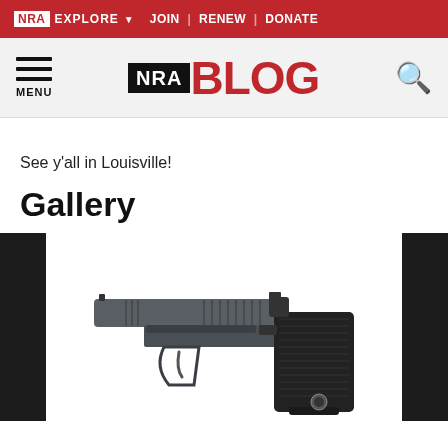NRA EXPLORE ▾  JOIN | RENEW | DONATE
[Figure (logo): NRA Blog logo with hamburger menu and search icon]
See y'all in Louisville!
Gallery
[Figure (photo): SIG Sauer semi-automatic pistol in grey/black finish, photographed against white background with dark side panels flanking the image]